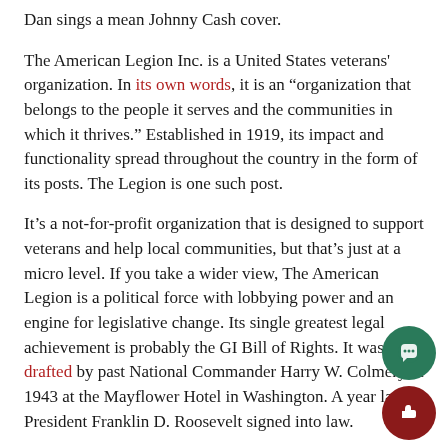Dan sings a mean Johnny Cash cover.
The American Legion Inc. is a United States veterans' organization. In its own words, it is an “organization that belongs to the people it serves and the communities in which it thrives.” Established in 1919, its impact and functionality spread throughout the country in the form of its posts. The Legion is one such post.
It’s a not-for-profit organization that is designed to support veterans and help local communities, but that’s just at a micro level. If you take a wider view, The American Legion is a political force with lobbying power and an engine for legislative change. Its single greatest legal achievement is probably the GI Bill of Rights. It was first drafted by past National Commander Harry W. Colmery in 1943 at the Mayflower Hotel in Washington. A year later, President Franklin D. Roosevelt signed into law.